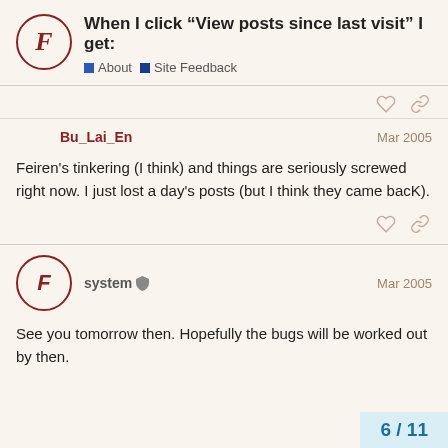When I click “View posts since last visit” I get:
About  Site Feedback
Bu_Lai_En   Mar 2005
Feiren's tinkering (I think) and things are seriously screwed right now. I just lost a day's posts (but I think they came bacK).
system   Mar 2005
See you tomorrow then. Hopefully the bugs will be worked out by then.
6 / 11